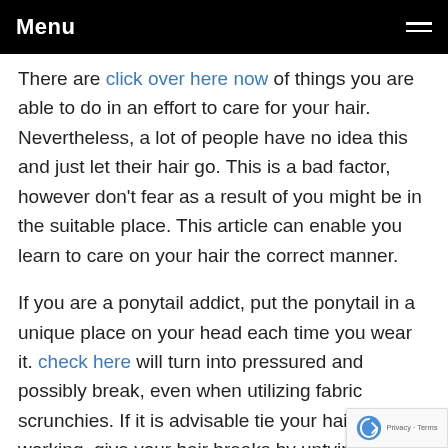Menu
There are click over here now of things you are able to do in an effort to care for your hair. Nevertheless, a lot of people have no idea this and just let their hair go. This is a bad factor, however don't fear as a result of you might be in the suitable place. This article can enable you learn to care on your hair the correct manner.
If you are a ponytail addict, put the ponytail in a unique place on your head each time you wear it. check here will turn into pressured and possibly break, even when utilizing fabric scrunchies. If it is advisable tie your hair when working, give your hair breaks by untying it during non-working hours.